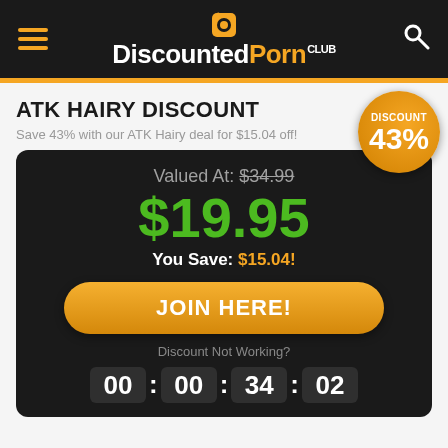DiscountedPorn CLUB
ATK HAIRY DISCOUNT
Save 43% with our ATK Hairy deal for $15.04 off!
DISCOUNT 43%
Valued At: $34.99
$19.95
You Save: $15.04!
JOIN HERE!
Discount Not Working?
00 : 00 : 34 : 02